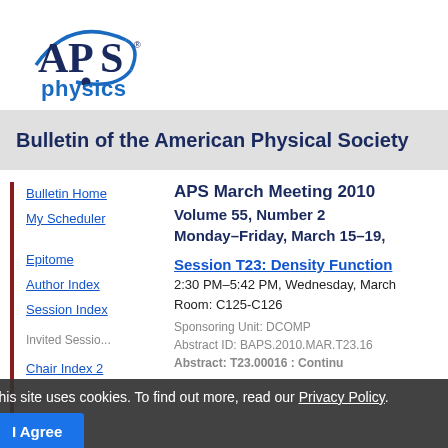[Figure (logo): APS physics logo — black APS letters with blue arc and dot, blue 'physics' text below]
Bulletin of the American Physical Society
Bulletin Home
My Scheduler
Epitome
Author Index
Session Index
APS March Meeting 2010
Volume 55, Number 2
Monday–Friday, March 15–19,
Session T23: Density Function
2:30 PM–5:42 PM, Wednesday, March
Room: C125-C126
Sponsoring Unit: DCOMP
Abstract ID: BAPS.2010.MAR.T23.16
Abstract: T23.00016 : Continu
This site uses cookies. To find out more, read our Privacy Policy.